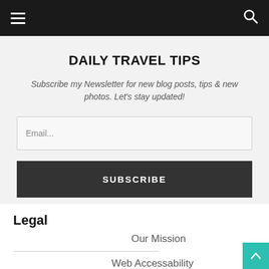Navigation bar with hamburger menu and search icon
DAILY TRAVEL TIPS
Subscribe my Newsletter for new blog posts, tips & new photos. Let's stay updated!
Email...
SUBSCRIBE
Legal
Our Mission
Web Accessability